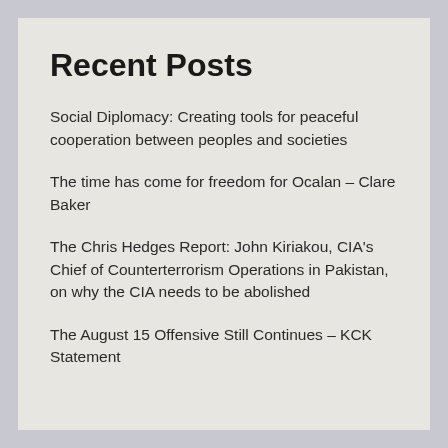Recent Posts
Social Diplomacy: Creating tools for peaceful cooperation between peoples and societies
The time has come for freedom for Ocalan – Clare Baker
The Chris Hedges Report: John Kiriakou, CIA's Chief of Counterterrorism Operations in Pakistan, on why the CIA needs to be abolished
The August 15 Offensive Still Continues – KCK Statement